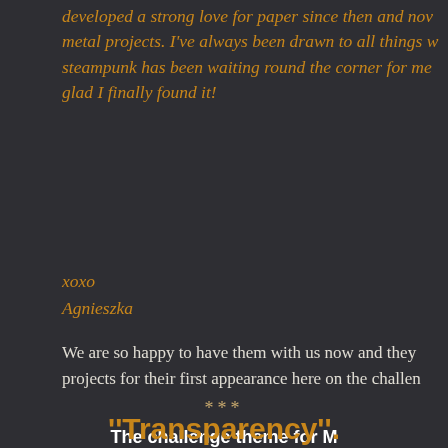developed a strong love for paper since then and now metal projects. I've always been drawn to all things w steampunk has been waiting round the corner for me glad I finally found it!
xoxo
Agnieszka
We are so happy to have them with us now and they projects for their first appearance here on the challen
***
The challenge theme for M is
"Transparency".